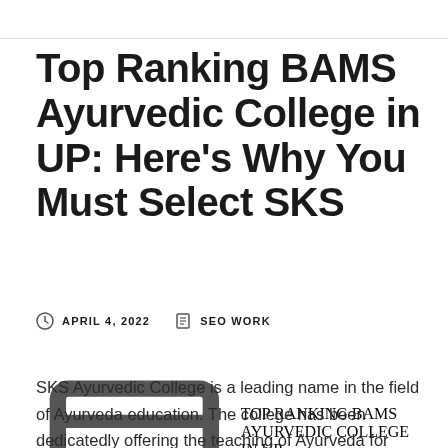Top Ranking BAMS Ayurvedic College in UP: Here's Why You Must Select SKS
APRIL 4, 2022   SEO WORK   TOP RANKING BAMS AYURVEDIC COLLEGE IN UP
SKS Ayurvedic College is a leading name in the field of Ayurveda education. The college has been dedicatedly offering the teaching of Ayurveda for years now. It continues to be the top ranking